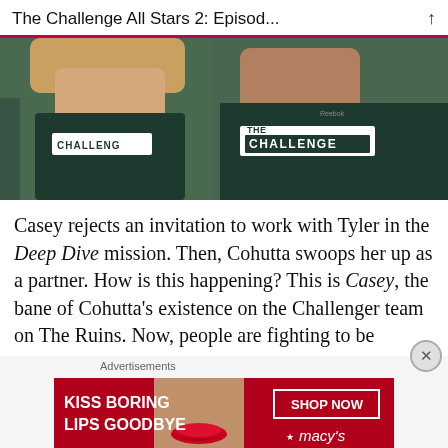The Challenge All Stars 2: Episod...
[Figure (photo): Two people wearing dark teal 'Challenge' branded shirts standing in front of trees. Left person (woman) has arms crossed wearing a shirt with 'CHALLENG' visible. Right person (man) wearing a shirt with 'CHALLENGE' text on it.]
Casey rejects an invitation to work with Tyler in the Deep Dive mission. Then, Cohutta swoops her up as a partner. How is this happening? This is Casey, the bane of Cohutta's existence on the Challenger team on The Ruins. Now, people are fighting to be
Advertisements
[Figure (photo): Advertisement banner for Macy's lipstick. Red background with text 'KISS BORING LIPS GOODBYE' on the left, a close-up of a woman's face showing red lips in the center, and 'SHOP NOW' button with Macy's star logo on the right.]